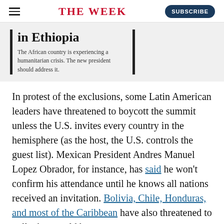THE WEEK
[Figure (other): Promotional banner with bold heading 'in Ethiopia' and subtext 'The African country is experiencing a humanitarian crisis. The new president should address it.' flanked by vertical black bars on a grey background.]
In protest of the exclusions, some Latin American leaders have threatened to boycott the summit unless the U.S. invites every country in the hemisphere (as the host, the U.S. controls the guest list). Mexican President Andres Manuel Lopez Obrador, for instance, has said he won’t confirm his attendance until he knows all nations received an invitation. Bolivia, Chile, Honduras, and most of the Caribbean have also threatened to pull what would be an